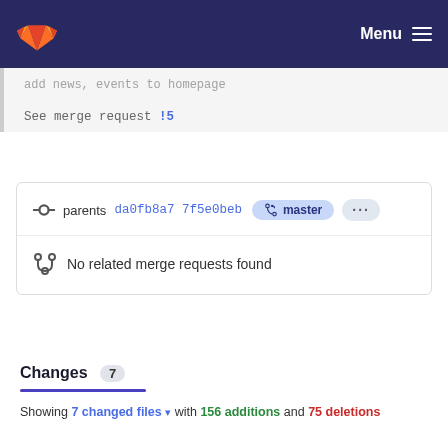GitLab — Menu
add news, events to homepage
See merge request !5
parents da0fb8a7 7f5e0beb  master  ...  No related merge requests found
Changes 7
Showing 7 changed files with 156 additions and 75 deletions
src/components/books/bookList.js
1  import React  from "react"
1  import React  from "react"